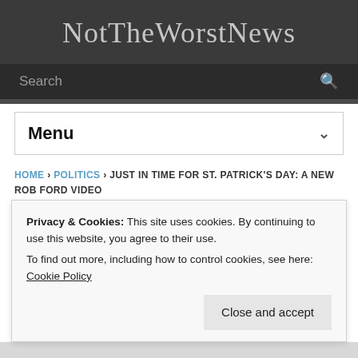NotTheWorstNews
Search
Menu
HOME › POLITICS › JUST IN TIME FOR ST. PATRICK'S DAY: A NEW ROB FORD VIDEO
Just In Time For St. Patrick's D…
Privacy & Cookies: This site uses cookies. By continuing to use this website, you agree to their use.
To find out more, including how to control cookies, see here: Cookie Policy
Close and accept